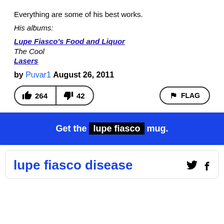Everything are some of his best works.
His albums:
Lupe Fiasco's Food and Liquor
The Cool
Lasers
by Puvar1 August 26, 2011
[Figure (other): Vote buttons: thumbs up 264, thumbs down 42, and FLAG button]
Get the lupe fiasco mug.
lupe fiasco disease